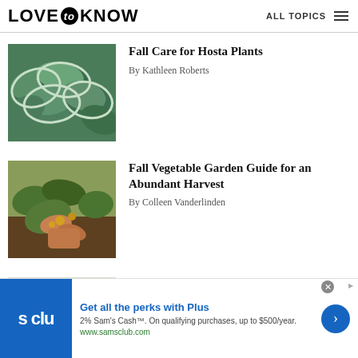LOVE to KNOW   ALL TOPICS
[Figure (photo): Close-up photo of hosta plant leaves with green and white variegation]
Fall Care for Hosta Plants
By Kathleen Roberts
[Figure (photo): Photo of hands harvesting vegetables in a garden]
Fall Vegetable Garden Guide for an Abundant Harvest
By Colleen Vanderlinden
[Figure (photo): Photo of shrubs with orange/red fall foliage]
9 Shrubs to Plant in Fall to Level Up Your Landscaping
[Figure (screenshot): Sam's Club advertisement banner: Get all the perks with Plus. 2% Sam's Cash™. On qualifying purchases, up to $500/year. www.samsclub.com]